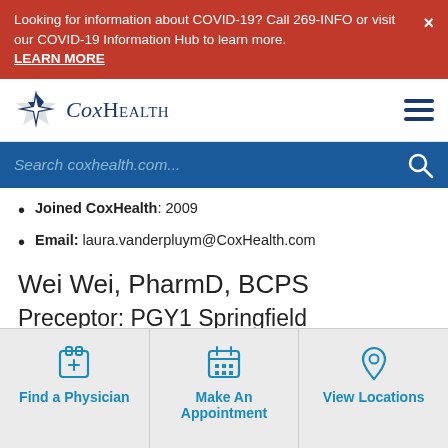Looking for information about COVID-19? Call 269-INFO or visit our COVID-19 Information Hub to learn more. LEARN MORE
[Figure (logo): CoxHealth logo with blue star/diamond shape and serif text]
Search coxhealth.com...
Joined CoxHealth: 2009
Email: laura.vanderpluym@CoxHealth.com
Wei Wei, PharmD, BCPS
Preceptor: PGY1 Springfield
Find a Physician
Make An Appointment
View Locations